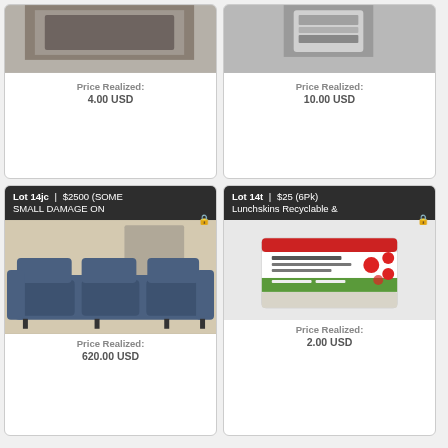[Figure (photo): Partial view of an item, top portion cut off, small item on light background]
Price Realized:
4.00 USD
[Figure (photo): Partial view of a chrome/metal item, top portion cut off]
Price Realized:
10.00 USD
Lot 14jc | $2500 (SOME SMALL DAMAGE ON
[Figure (photo): Blue leather reclining sofa/couch in a warehouse setting]
Price Realized:
620.00 USD
Lot 14t | $25 (6Pk) Lunchskins Recyclable &
[Figure (photo): Box of Lunchskins Recyclable & reusable bags product packaging with red polka dot design]
Price Realized:
2.00 USD